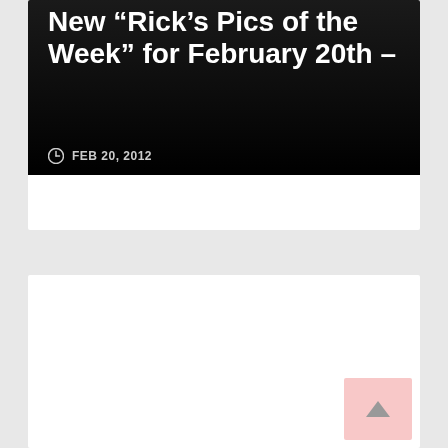New “Rick’s Pics of the Week” for February 20th –
FEB 20, 2012